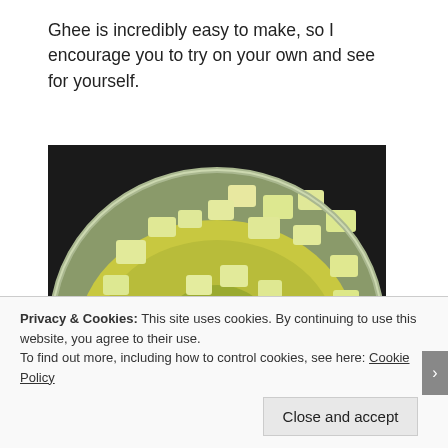Ghee is incredibly easy to make, so I encourage you to try on your own and see for yourself.
[Figure (photo): A stainless steel pot containing cubes of butter melting, with a wooden slotted spatula visible on the left side. The butter pieces are partially melted in a pool of liquid fat.]
Privacy & Cookies: This site uses cookies. By continuing to use this website, you agree to their use. To find out more, including how to control cookies, see here: Cookie Policy